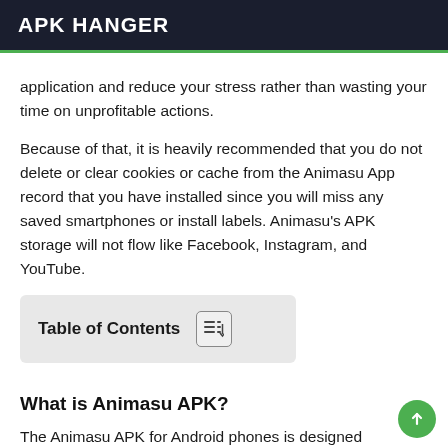APK HANGER
application and reduce your stress rather than wasting your time on unprofitable actions.
Because of that, it is heavily recommended that you do not delete or clear cookies or cache from the Animasu App record that you have installed since you will miss any saved smartphones or install labels. Animasu's APK storage will not flow like Facebook, Instagram, and YouTube.
| Table of Contents |
What is Animasu APK?
The Animasu APK for Android phones is designed specifically for the entertainment industry, an entertainment application aimed at fun lovers. Anime Movies and Web Series offer h